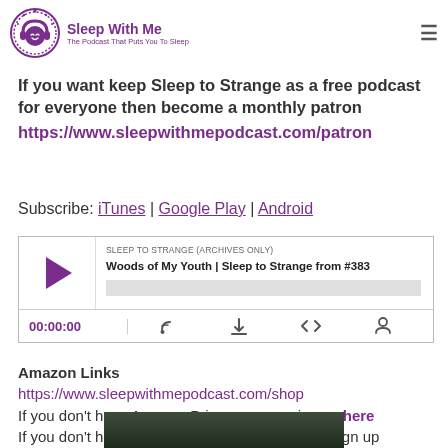Sleep With Me – The Podcast That Puts You To Sleep
This episode was recorded on location and contains ambient sounds and moss scratching, as well as me walking.
If you want keep Sleep to Strange as a free podcast for everyone then become a monthly patron https://www.sleepwithmepodcast.com/patron
Subscribe: iTunes | Google Play | Android
[Figure (screenshot): Podcast audio player widget showing 'SLEEP TO STRANGE (ARCHIVES ONLY)' series and episode 'Woods of My Youth | Sleep to Strange from #383'. Player shows play button, progress bar, time 00:00:00, and control icons.]
Amazon Links
https://www.sleepwithmepodcast.com/shop
If you don't have Amazon Prime you can sign up here
If you don't have Amazon Prime in UK you can sign up here http://amzn.to/29giJFd
[Figure (photo): Dark forest/woods image at bottom of page]